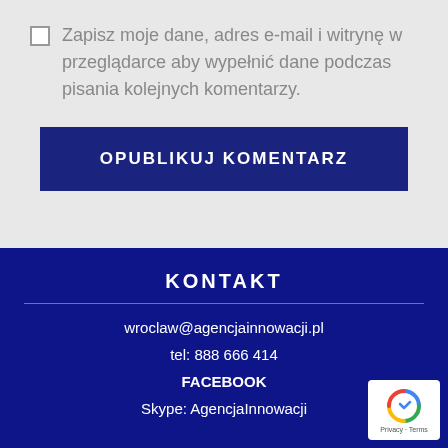Zapisz moje dane, adres e-mail i witrynę w przeglądarce aby wypełnić dane podczas pisania kolejnych komentarzy.
OPUBLIKUJ KOMENTARZ
KONTAKT
wroclaw@agencjainnowacji.pl
tel: 888 666 414
FACEBOOK
Skype: AgencjaInnowacji